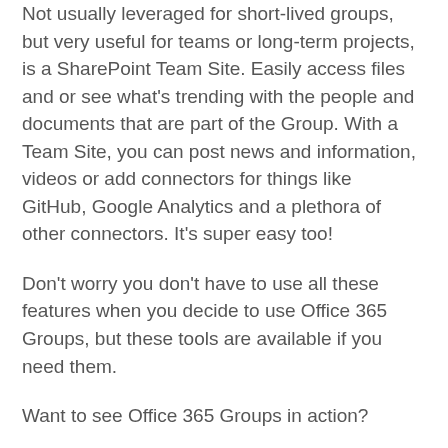Not usually leveraged for short-lived groups, but very useful for teams or long-term projects, is a SharePoint Team Site. Easily access files and or see what's trending with the people and documents that are part of the Group. With a Team Site, you can post news and information, videos or add connectors for things like GitHub, Google Analytics and a plethora of other connectors. It's super easy too!
Don't worry you don't have to use all these features when you decide to use Office 365 Groups, but these tools are available if you need them.
Want to see Office 365 Groups in action?